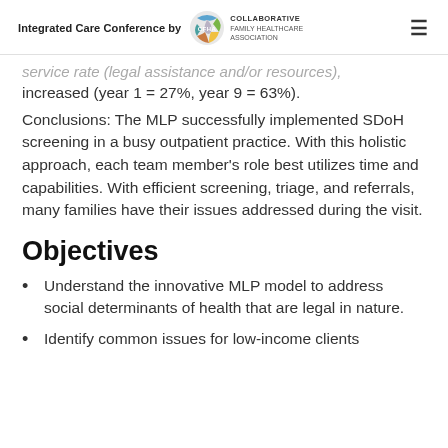Integrated Care Conference by CFHA COLLABORATIVE FAMILY HEALTHCARE ASSOCIATION
service rate (legal assistance and/or resources), increased (year 1 = 27%, year 9 = 63%).
Conclusions: The MLP successfully implemented SDoH screening in a busy outpatient practice. With this holistic approach, each team member's role best utilizes time and capabilities. With efficient screening, triage, and referrals, many families have their issues addressed during the visit.
Objectives
Understand the innovative MLP model to address social determinants of health that are legal in nature.
Identify common issues for low-income clients